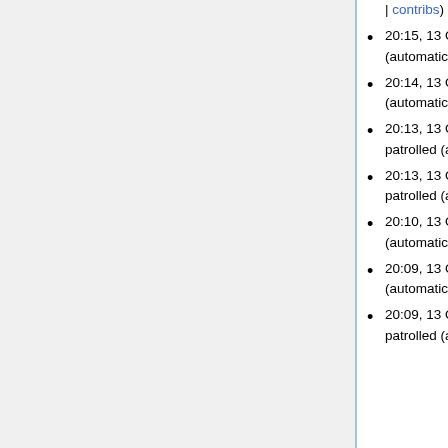| contribs) marked revision 901 of Discussion patrolled (automatic)
20:15, 13 October 2010 Adrian.gritz (Talk | contribs) marked revision 899 of Calendar patrolled (automatic)
20:14, 13 October 2010 Adrian.gritz (Talk | contribs) marked revision 897 of Basic patrolled (automatic)
20:13, 13 October 2010 Adrian.gritz (Talk | contribs) marked revision 895 of Assignments patrolled (automatic)
20:13, 13 October 2010 Adrian.gritz (Talk | contribs) marked revision 893 of Announcements patrolled (automatic)
20:10, 13 October 2010 Adrian.gritz (Talk | contribs) marked revision 891 of Faq patrolled (automatic)
20:09, 13 October 2010 Adrian.gritz (Talk | contribs) marked revision 889 of Faq patrolled (automatic)
20:09, 13 October 2010 Adrian.gritz (Talk | contribs) marked revision 887 of Known Issues patrolled (automatic)